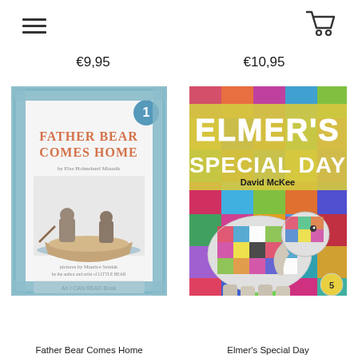Navigation bar with hamburger menu and shopping cart icon
€9,95
€10,95
[Figure (photo): Book cover of 'Father Bear Comes Home' — light blue decorative border, title in salmon/orange letters, illustration of bears in a boat, author Else Holmelund Minarik, pictures by Maurice Sendak, An I Can Read Book label at bottom, badge showing number 1]
[Figure (photo): Book cover of 'Elmer's Special Day' by David McKee — colorful patchwork elephant Elmer on a vibrant multicolored background, title in white letters on yellow banner]
Father Bear Comes Home
Elmer's Special Day